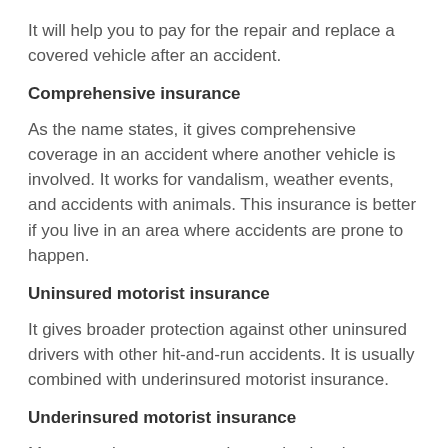It will help you to pay for the repair and replace a covered vehicle after an accident.
Comprehensive insurance
As the name states, it gives comprehensive coverage in an accident where another vehicle is involved. It works for vandalism, weather events, and accidents with animals. This insurance is better if you live in an area where accidents are prone to happen.
Uninsured motorist insurance
It gives broader protection against other uninsured drivers with other hit-and-run accidents. It is usually combined with underinsured motorist insurance.
Underinsured motorist insurance
Many people save money by purchasing the minimum coverage